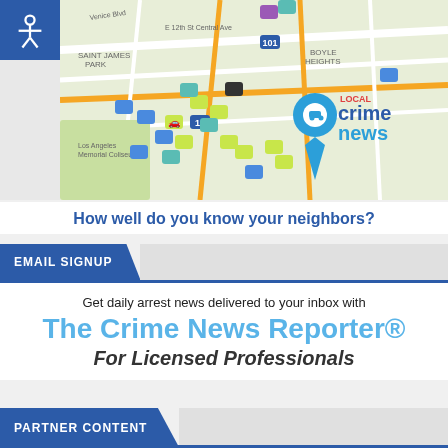[Figure (map): Local Crime News map of Los Angeles area showing crime incident icons (car theft, burglary, assault, etc.) overlaid on a street map. Includes 'LOCAL crime news' branding with a blue location pin icon.]
How well do you know your neighbors?
EMAIL SIGNUP
Get daily arrest news delivered to your inbox with
The Crime News Reporter®
For Licensed Professionals
PARTNER CONTENT